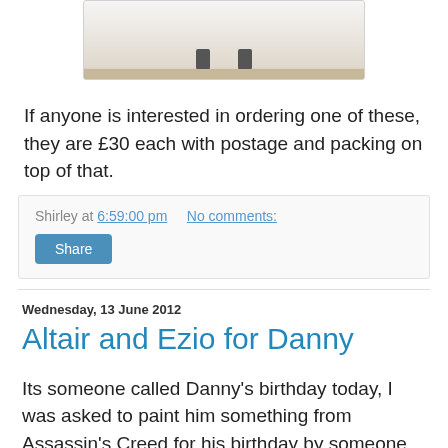[Figure (photo): Bottom portion of a photograph showing the feet/legs of a figurine, cropped at the top. The image shows a white/light background with a brown floor.]
If anyone is interested in ordering one of these, they are £30 each with postage and packing on top of that.
Shirley at 6:59:00 pm   No comments:
Share
Wednesday, 13 June 2012
Altair and Ezio for Danny
Its someone called Danny's birthday today, I was asked to paint him something from Assassin's Creed for his birthday by someone who loves him.